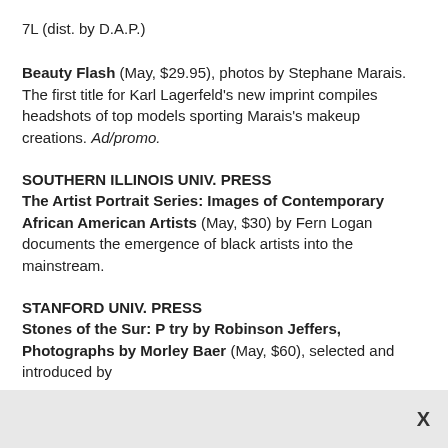7L (dist. by D.A.P.)
Beauty Flash (May, $29.95), photos by Stephane Marais. The first title for Karl Lagerfeld's new imprint compiles headshots of top models sporting Marais's makeup creations. Ad/promo.
SOUTHERN ILLINOIS UNIV. PRESS
The Artist Portrait Series: Images of Contemporary African American Artists (May, $30) by Fern Logan documents the emergence of black artists into the mainstream.
STANFORD UNIV. PRESS
Stones of the Sur: P try by Robinson Jeffers, Photographs by Morley Baer (May, $60), selected and introduced by
X